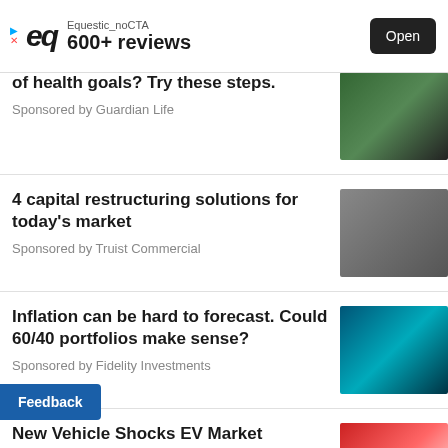[Figure (screenshot): Ad banner for Equestic_noCTA app showing logo, '600+ reviews', and Open button]
of health goals? Try these steps.
Sponsored by Guardian Life
4 capital restructuring solutions for today's market
Sponsored by Truist Commercial
Inflation can be hard to forecast. Could 60/40 portfolios make sense?
Sponsored by Fidelity Investments
New Vehicle Shocks EV Market
Sponsored by Empire Financial Research